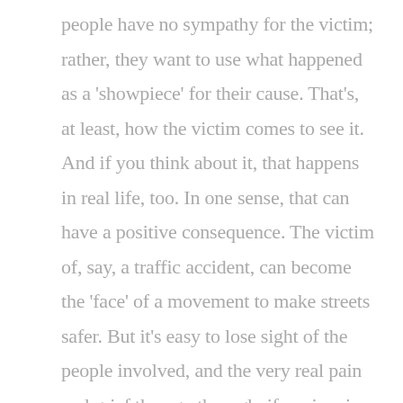people have no sympathy for the victim; rather, they want to use what happened as a 'showpiece' for their cause. That's, at least, how the victim comes to see it. And if you think about it, that happens in real life, too. In one sense, that can have a positive consequence. The victim of, say, a traffic accident, can become the 'face' of a movement to make streets safer. But it's easy to lose sight of the people involved, and the very real pain and grief they go through, if a crime is used to further others' agendas. It's a very delicate balance, and it's sometimes hard to strike it.